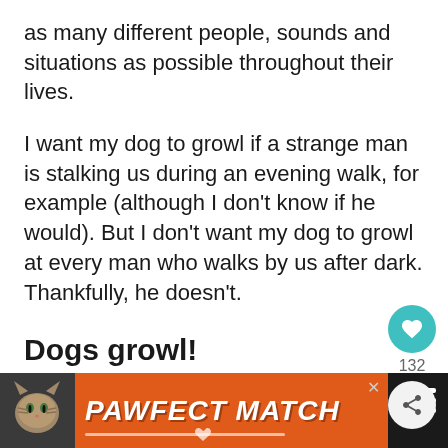as many different people, sounds and situations as possible throughout their lives.
I want my dog to growl if a strange man is stalking us during an evening walk, for example (although I don't know if he would). But I don't want my dog to growl at every man who walks by us after dark. Thankfully, he doesn't.
Dogs growl!
Dog owners need to remember that growling is a normal part of dog communication.
[Figure (other): Advertisement banner for 'PAWFECT MATCH' showing a cat photo on the left, orange background with bold italic white text reading PAWFECT MATCH, and a close button. Right side shows a dark panel with what appears to be a logo.]